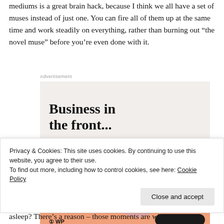mediums is a great brain hack, because I think we all have a set of muses instead of just one. You can fire all of them up at the same time and work steadily on everything, rather than burning out “the novel muse” before you’re even done with it.
[Figure (screenshot): Advertisement banner for WordPress showing 'Business in the front...' text on a light beige background (top half) and 'WordPress in the back.' text on an orange/peach background with colorful blob decorations (bottom half). A WordPress logo and dark button appear at the bottom.]
Privacy & Cookies: This site uses cookies. By continuing to use this website, you agree to their use.
To find out more, including how to control cookies, see here: Cookie Policy
asleep? There’s a reason – those moments are when your